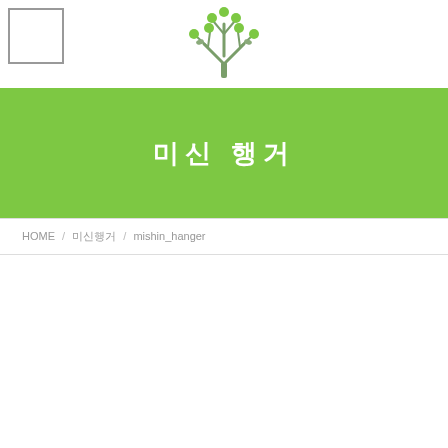[Figure (logo): Empty white rectangle logo placeholder in top-left corner]
[Figure (logo): Green tree/bird illustration logo centered in header]
미신 행거
HOME / 미신행거 / mishin_hanger